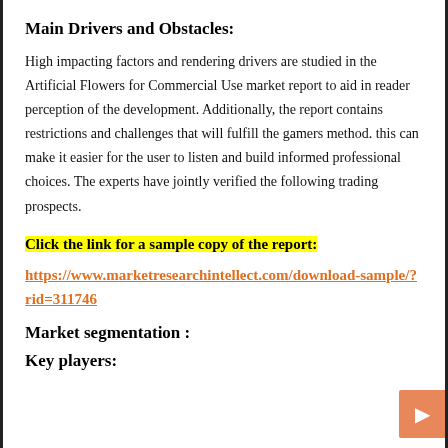Main Drivers and Obstacles:
High impacting factors and rendering drivers are studied in the Artificial Flowers for Commercial Use market report to aid in reader perception of the development. Additionally, the report contains restrictions and challenges that will fulfill the gamers method. this can make it easier for the user to listen and build informed professional choices. The experts have jointly verified the following trading prospects.
Click the link for a sample copy of the report:
https://www.marketresearchintellect.com/download-sample/?rid=311746
Market segmentation :
Key players: